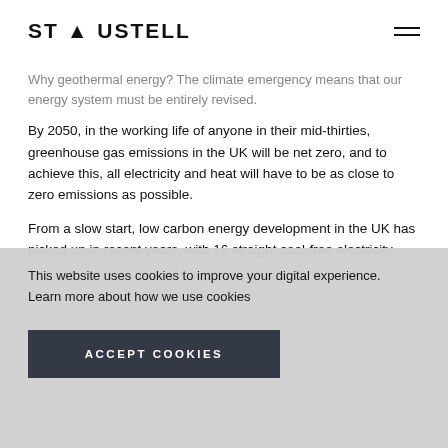ST AUSTELL
Why geothermal energy? The climate emergency means that our energy system must be entirely revised.
By 2050, in the working life of anyone in their mid-thirties, greenhouse gas emissions in the UK will be net zero, and to achieve this, all electricity and heat will have to be as close to zero emissions as possible.
From a slow start, low carbon energy development in the UK has picked up in recent years, with 16 straight coal-free electricity
This website uses cookies to improve your digital experience. Learn more about how we use cookies
ACCEPT COOKIES